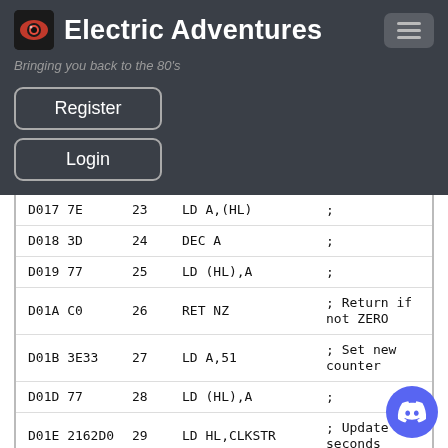Electric Adventures
Bringing you back to the 80's
Register
Login
| Address | Num | Instruction | Comment |
| --- | --- | --- | --- |
| D017 7E | 23 | LD A,(HL) | ; |
| D018 3D | 24 | DEC A | ; |
| D019 77 | 25 | LD (HL),A | ; |
| D01A C0 | 26 | RET NZ | ; Return if not ZERO |
| D01B 3E33 | 27 | LD A,51 | ; Set new counter |
| D01D 77 | 28 | LD (HL),A | ; |
| D01E 2162D0 | 29 | LD HL,CLKSTR | ; Update seconds |
[Figure (logo): Discord floating button]